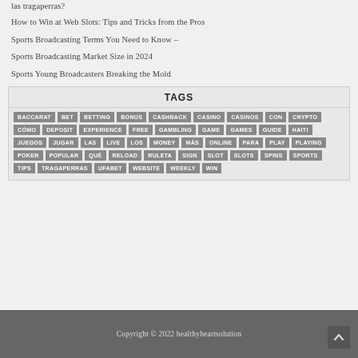las tragaperras?
How to Win at Web Slots: Tips and Tricks from the Pros
Sports Broadcasting Terms You Need to Know –
Sports Broadcasting Market Size in 2024
Sports Young Broadcasters Breaking the Mold
TAGS
BACCARAT BET BETTING BONUS CASHBACK CASINO CASINOS CON CRYPTO CÓMO DEPOSIT EXPERIENCE FREE GAMBLING GAME GAMES GUIDE HAITI JUEGOS JUGAR LAS LIVE LOS MONEY MÁS ONLINE PARA PLAY PLAYING POKER POPULAR QUÉ RELOAD RULETA SIGN SLOT SLOTS SPINS SPORTS TIPS TRAGAPERRAS UFABET WEBSITE WEEKLY WIN
Copyright © 2022 healthyheartsolution